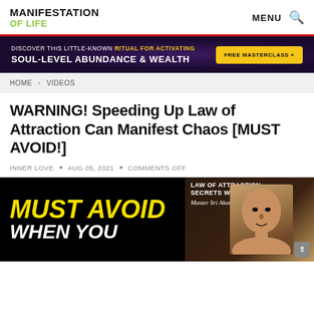MANIFESTATION OF LIFE — MENU [search icon]
[Figure (infographic): Dark purple/galaxy banner ad: 'DISCOVER THIS LITTLE-KNOWN RITUAL FOR ACTIVATING SOUL-LEVEL ABUNDANCE & WEALTH' with yellow 'FREE MASTERCLASS +' button]
HOME > VIDEOS
WARNING! Speeding Up Law of Attraction Can Manifest Chaos [MUST AVOID!]
INNER LOVE • AUG 05, 2021 • COMMENTS OFF
[Figure (screenshot): Video thumbnail with yellow bold italic 'MUST AVOID' text and white 'WHEN YOU' text on black left side; right side shows man's face with 'LAW OF ATTRACTION SECRETS WITH Master Sri Akarshana' text on dark background]